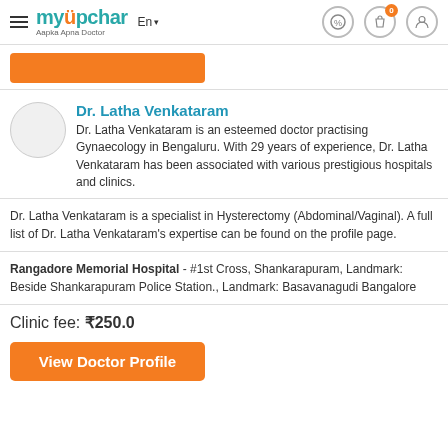myupchar — Aapka Apna Doctor | En | navigation icons
[Figure (screenshot): Orange button/banner at top of page]
Dr. Latha Venkataram
Dr. Latha Venkataram is an esteemed doctor practising Gynaecology in Bengaluru. With 29 years of experience, Dr. Latha Venkataram has been associated with various prestigious hospitals and clinics.
Dr. Latha Venkataram is a specialist in Hysterectomy (Abdominal/Vaginal). A full list of Dr. Latha Venkataram's expertise can be found on the profile page.
Rangadore Memorial Hospital - #1st Cross, Shankarapuram, Landmark: Beside Shankarapuram Police Station., Landmark: Basavanagudi Bangalore
Clinic fee: ₹250.0
View Doctor Profile